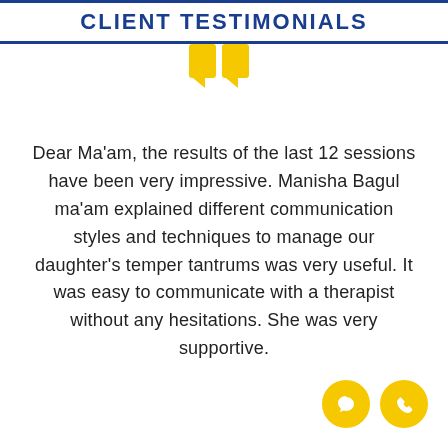CLIENT TESTIMONIALS
[Figure (illustration): Yellow decorative double quotation mark icon]
Dear Ma'am, the results of the last 12 sessions have been very impressive. Manisha Bagul ma'am explained different communication styles and techniques to manage our daughter's temper tantrums was very useful. It was easy to communicate with a therapist without any hesitations. She was very supportive.
[Figure (illustration): Two yellow circular icons — a chat bubble and a phone]